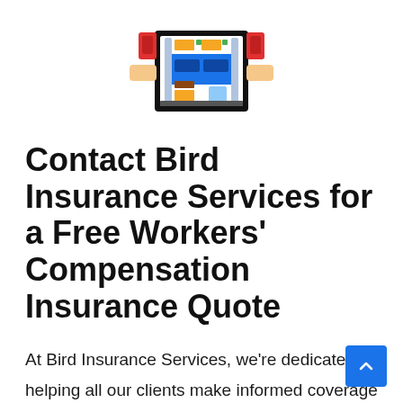[Figure (logo): Colorful pixel-art robot/character logo for Bird Insurance Services — features geometric shapes in blue, orange, green, red, and skin-tone colors on a white background.]
Contact Bird Insurance Services for a Free Workers' Compensation Insurance Quote
At Bird Insurance Services, we're dedicated to helping all our clients make informed coverage decisions. That's why we're here to answer your every question regarding workers' compensation